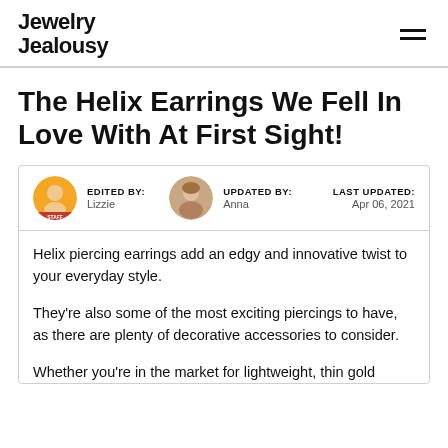Jewelry Jealousy
The Helix Earrings We Fell In Love With At First Sight!
EDITED BY: Lizzie | UPDATED BY: Anna | LAST UPDATED: Apr 06, 2021
Helix piercing earrings add an edgy and innovative twist to your everyday style.
They're also some of the most exciting piercings to have, as there are plenty of decorative accessories to consider.
Whether you're in the market for lightweight, thin gold...